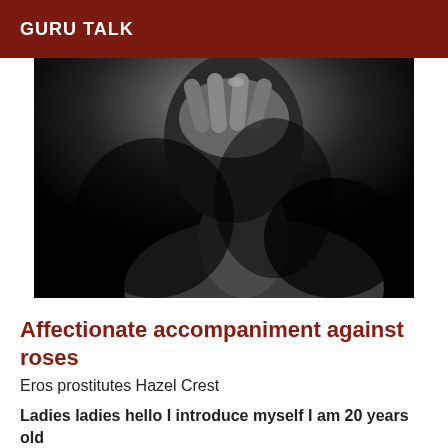GURU TALK
[Figure (photo): Black and white close-up photograph of a person touching their face/mouth with their hand against a dark background]
Affectionate accompaniment against roses
Eros prostitutes Hazel Crest
Ladies ladies hello I introduce myself I am 20 years old